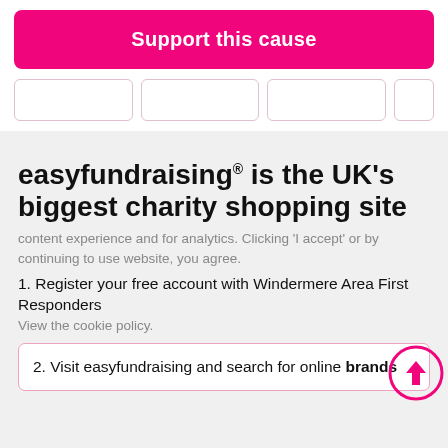Support this cause
easyfundraising® is the UK's biggest charity shopping site
content experience and for analytics. Clicking 'I accept' or by continuing to use website, you agree.
1. Register your free account with Windermere Area First Responders
View the cookie policy.
2. Visit easyfundraising and search for online brands